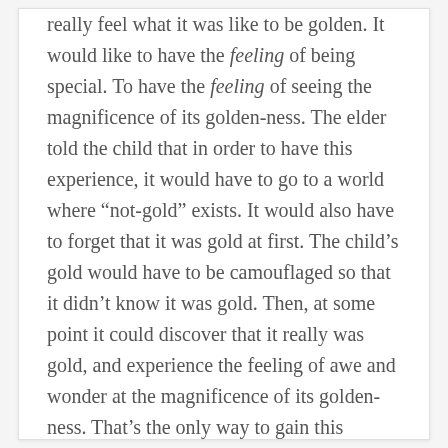really feel what it was like to be golden. It would like to have the feeling of being special. To have the feeling of seeing the magnificence of its golden-ness. The elder told the child that in order to have this experience, it would have to go to a world where “not-gold” exists. It would also have to forget that it was gold at first. The child’s gold would have to be camouflaged so that it didn’t know it was gold. Then, at some point it could discover that it really was gold, and experience the feeling of awe and wonder at the magnificence of its golden-ness. That’s the only way to gain this experience, the only way to really have the feelings and emotions derived from the wonder of its golden-ness.